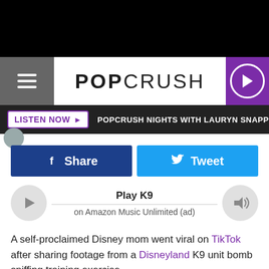POPCRUSH
LISTEN NOW ▶  POPCRUSH NIGHTS WITH LAURYN SNAPP
[Figure (screenshot): Share and Tweet social media buttons]
[Figure (screenshot): Audio player: Play K9 on Amazon Music Unlimited (ad)]
A self-proclaimed Disney mom went viral on TikTok after sharing footage from a Disneyland K9 unit bomb sniffing training exercise.
TikTok user Gabrielle Gutierrez, a.k.a. @gabruellegutierr on the app, shared her mom was asked to help out with one of the tests for a dog who was in the training program while